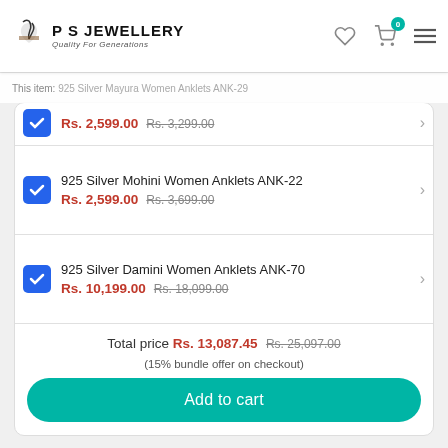PS Jewellery Quality For Generations
This item: 925 Silver Mayura Women Anklets ANK-29
Rs. 2,599.00 Rs. 3,299.00
925 Silver Mohini Women Anklets ANK-22
Rs. 2,599.00 Rs. 3,699.00
925 Silver Damini Women Anklets ANK-70
Rs. 10,199.00 Rs. 18,099.00
Total price Rs. 13,087.45 Rs. 25,097.00
(15% bundle offer on checkout)
Add to cart